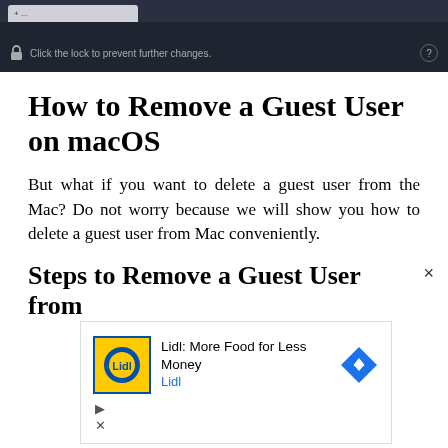[Figure (screenshot): Dark browser chrome/tab bar showing a macOS system preferences lock icon and text 'Click the lock to prevent further changes.' with a question mark button on the right.]
How to Remove a Guest User on macOS
But what if you want to delete a guest user from the Mac? Do not worry because we will show you how to delete a guest user from Mac conveniently.
Steps to Remove a Guest User from
[Figure (screenshot): Advertisement overlay showing Lidl logo with text 'Lidl: More Food for Less Money' and 'Lidl' with a blue diamond navigation arrow icon. Has a play button and close X controls below.]